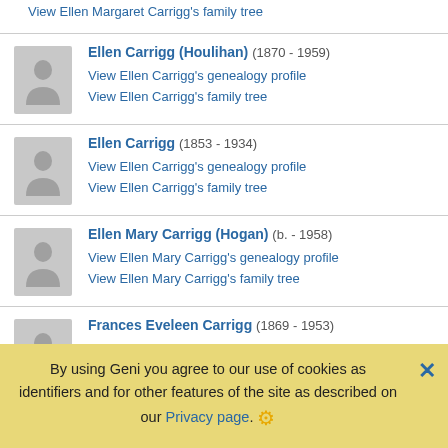View Ellen Margaret Carrigg's family tree
Ellen Carrigg (Houlihan) (1870 - 1959)
View Ellen Carrigg's genealogy profile
View Ellen Carrigg's family tree
Ellen Carrigg (1853 - 1934)
View Ellen Carrigg's genealogy profile
View Ellen Carrigg's family tree
Ellen Mary Carrigg (Hogan) (b. - 1958)
View Ellen Mary Carrigg's genealogy profile
View Ellen Mary Carrigg's family tree
Frances Eveleen Carrigg (1869 - 1953)
View Frances Eveleen Carrigg's genealogy profile
View Frances Eveleen Carrigg's family tree
Frank Carrigg (c.1907 - d.)
By using Geni you agree to our use of cookies as identifiers and for other features of the site as described on our Privacy page.